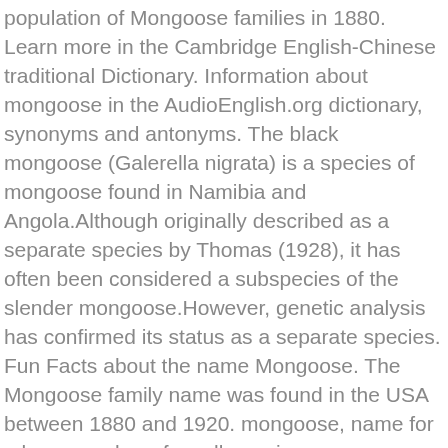population of Mongoose families in 1880. Learn more in the Cambridge English-Chinese traditional Dictionary. Information about mongoose in the AudioEnglish.org dictionary, synonyms and antonyms. The black mongoose (Galerella nigrata) is a species of mongoose found in Namibia and Angola.Although originally described as a separate species by Thomas (1928), it has often been considered a subspecies of the slender mongoose.However, genetic analysis has confirmed its status as a separate species. Fun Facts about the name Mongoose. The Mongoose family name was found in the USA between 1880 and 1920. mongoose, name for a large number of small, carnivorous, terrestrial Old World mammals of the civet [1] family. List of various diseases cured by Mongoose Plant. What does mongoose mean? Mongoose is the popular English name for 29 of the 34 species in the 14 genera of the family Herpestidae, which are small feliform carnivorans native to southern Eurasia and mainland Africa. The grey mongoose inhabits open forests, scrublands and cultivated fields, often close to human habitation. How unique is the name